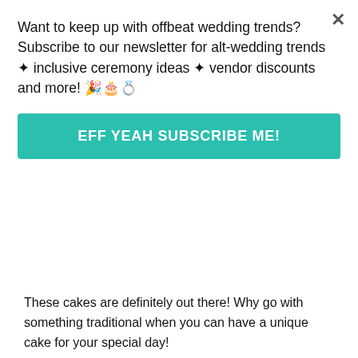Want to keep up with offbeat wedding trends?Subscribe to our newsletter for alt-wedding trends • inclusive ceremony ideas • vendor discounts and more! 🎉🍰💍
EFF YEAH SUBSCRIBE ME!
These cakes are definitely out there! Why go with something traditional when you can have a unique cake for your special day!
Brittany says:
Sep. 4, 2015 at 2:06 pm
I just wanted to say that the muppets cake is very depressing seeing as how Kermit and Miss Piggy broke up a couple months ago. D= )"